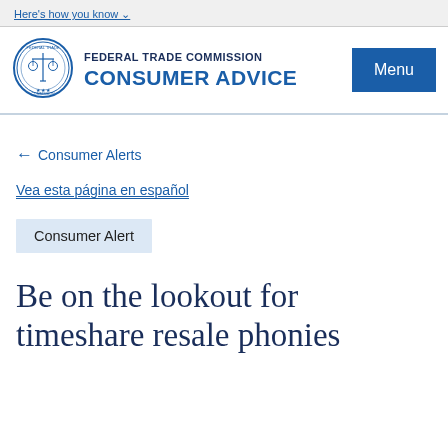Here's how you know
[Figure (logo): Federal Trade Commission seal/logo]
FEDERAL TRADE COMMISSION CONSUMER ADVICE
Menu
← Consumer Alerts
Vea esta página en español
Consumer Alert
Be on the lookout for timeshare resale phonies